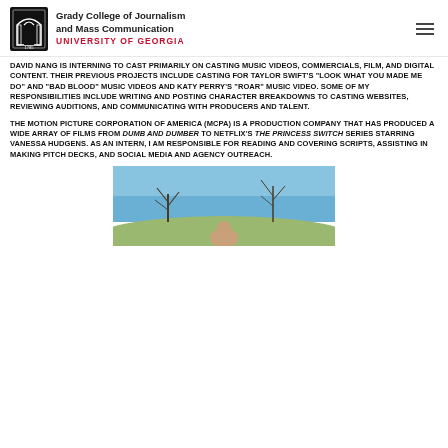Grady College of Journalism and Mass Communication UNIVERSITY OF GEORGIA
DAVID NANG IS INTERNING TO CAST PRIMARILY ON CASTING MUSIC VIDEOS, COMMERCIALS, FILM, AND DIGITAL CONTENT. THEIR PREVIOUS PROJECTS INCLUDE CASTING FOR TAYLOR SWIFT'S "LOOK WHAT YOU MADE ME DO" AND "BAD BLOOD" MUSIC VIDEOS AND KATY PERRY'S "ROAR" MUSIC VIDEO. SOME OF MY RESPONSIBILITIES INCLUDE WRITING AND POSTING CHARACTER BREAKDOWNS TO CASTING WEBSITES, REVIEWING AUDITIONS, AND COMMUNICATING WITH PRODUCERS AND TALENT.
THE MOTION PICTURE CORPORATION OF AMERICA (MCPA) IS A PRODUCTION COMPANY THAT HAS PRODUCED A WIDE ARRAY OF FILMS FROM DUMB AND DUMBER TO NETFLIX'S THE PRINCESS SWITCH SERIES STARRING VANESSA HUDGENS. AS AN INTERN, I AM RESPONSIBLE FOR READING AND COVERING SCRIPTS, ASSISTING IN MAKING PITCH DECKS, AND SOCIAL MEDIA AND AGENCY OUTREACH.
[Figure (photo): Outdoor photo with blue sky background and bare trees, person partially visible at bottom]